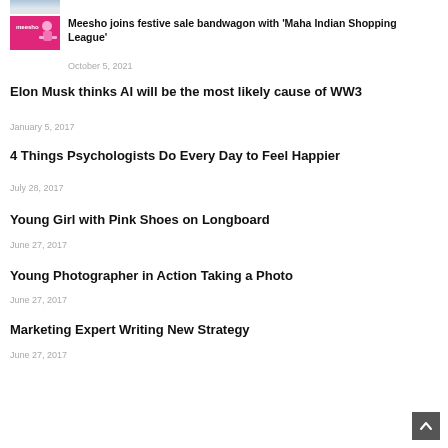[Figure (photo): Partial snow/winter scene thumbnail at top]
[Figure (photo): Meesho pink banner with delivery person illustration]
Meesho joins festive sale bandwagon with 'Maha Indian Shopping League'
October 5, 2021
Elon Musk thinks AI will be the most likely cause of WW3
January 5, 2017
4 Things Psychologists Do Every Day to Feel Happier
July 28, 2017
Young Girl with Pink Shoes on Longboard
June 27, 2017
Young Photographer in Action Taking a Photo
June 27, 2017
Marketing Expert Writing New Strategy
June 27, 2017